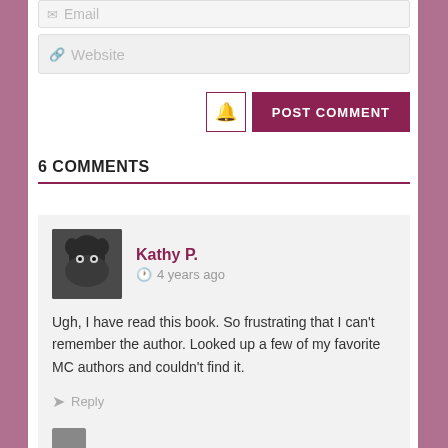Email
Website
POST COMMENT
6 COMMENTS
Kathy P.  4 years ago
Ugh, I have read this book. So frustrating that I can't remember the author. Looked up a few of my favorite MC authors and couldn't find it.
Reply